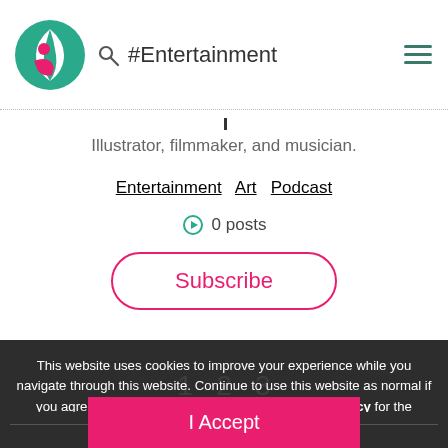#Entertainment
Illustrator, filmmaker, and musician.
Entertainment  Art  Podcast
0 posts
Subscribe
This website uses cookies to improve your experience while you navigate through this website. Continue to use this website as normal if you agree to the use of cookies. View our Privacy Policy for the details. By choosing "I Accept", you consent to our use of cookies.
FEATURED STARS
I Accept